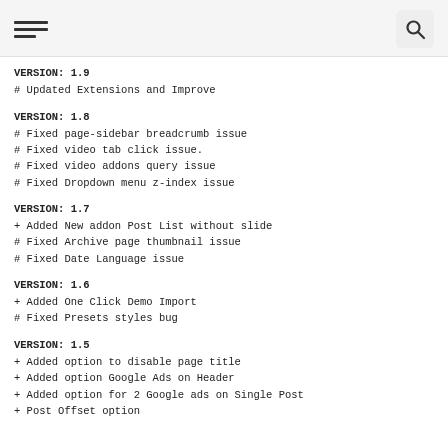VERSION: 1.9
# Updated Extensions and Improve
VERSION: 1.8
# Fixed page-sidebar breadcrumb issue
# Fixed video tab click issue.
# Fixed video addons query issue
# Fixed Dropdown menu z-index issue
VERSION: 1.7
+ Added New addon Post List without slide
# Fixed Archive page thumbnail issue
# Fixed Date Language issue
VERSION: 1.6
+ Added One Click Demo Import
# Fixed Presets styles bug
VERSION: 1.5
+ Added option to disable page title
+ Added option Google Ads on Header
+ Added option for 2 Google ads on Single Post
+ Post Offset option